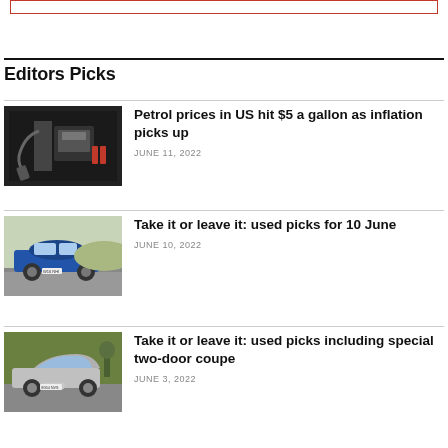Editors Picks
Petrol prices in US hit $5 a gallon as inflation picks up — JUNE 11, 2022
Take it or leave it: used picks for 10 June — JUNE 10, 2022
Take it or leave it: used picks including special two-door coupe — JUNE 3, 2022